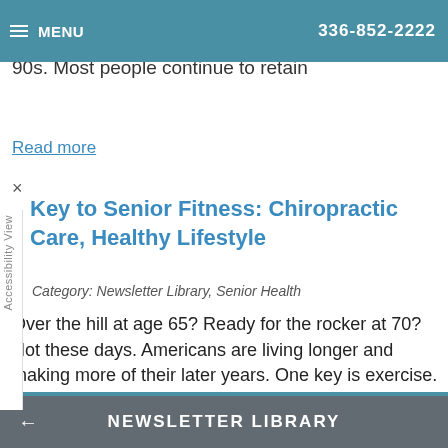MENU  336-852-2222
170 . In 2011, the oldest will turn 65, and on average to live to 83. Many will continue into their 90s. Most people continue to retain
Read more
Key to Senior Fitness: Chiropractic Care, Healthy Lifestyle
Category: Newsletter Library, Senior Health
Over the hill at age 65? Ready for the rocker at 70? Not these days. Americans are living longer and making more of their later years. One key is exercise. "Perhaps the most debilitating influence in people's health as they age is a sedentary life," said Dr. Jerome McAndrews, national spokesperson
Read more
← NEWSLETTER LIBRARY